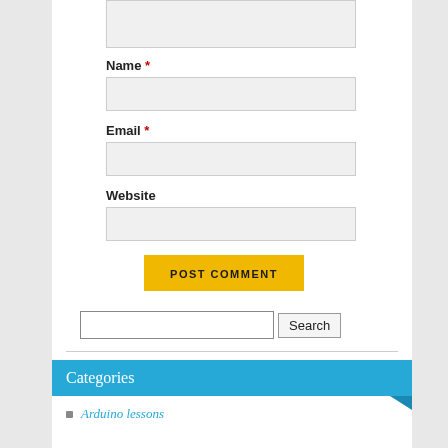[Figure (screenshot): Top of a comment form showing a textarea (partially visible, cropped at top)]
Name *
[Figure (screenshot): Name input field (text box)]
Email *
[Figure (screenshot): Email input field (text box)]
Website
[Figure (screenshot): Website input field (text box)]
POST COMMENT
[Figure (screenshot): Search bar with text input and Search button]
Categories
Arduino lessons